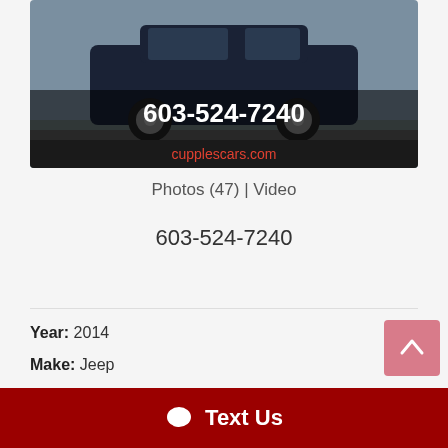[Figure (photo): Dark blue Jeep SUV parked outdoors with phone number 603-524-7240 and website cupplescars.com overlaid on the image]
Photos (47) | Video
603-524-7240
Year: 2014
Make: Jeep
Model: Compass
Trim: SPORT
Fuel: Gasoline
Text Us